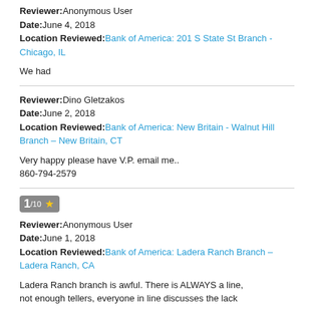Reviewer: Anonymous User
Date: June 4, 2018
Location Reviewed: Bank of America: 201 S State St Branch - Chicago, IL
We had
Reviewer: Dino Gletzakos
Date: June 2, 2018
Location Reviewed: Bank of America: New Britain - Walnut Hill Branch - New Britain, CT
Very happy please have V.P. email me..
860-794-2579
1/10 ★
Reviewer: Anonymous User
Date: June 1, 2018
Location Reviewed: Bank of America: Ladera Ranch Branch - Ladera Ranch, CA
Ladera Ranch branch is awful. There is ALWAYS a line, not enough tellers, everyone in line discusses the lack